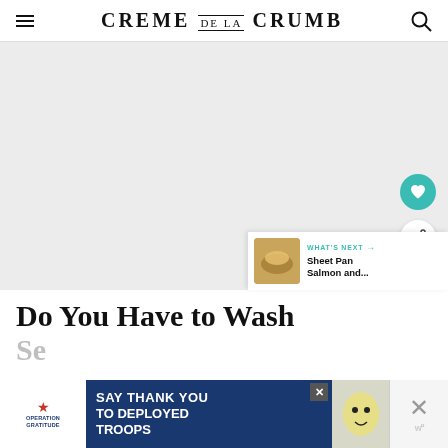CREME DE LA CRUMB
[Figure (photo): Large light gray placeholder image area for an article photo]
Do You Have to Wash
Se...
[Figure (other): Operation Gratitude advertisement: SAY THANK YOU TO DEPLOYED TROOPS]